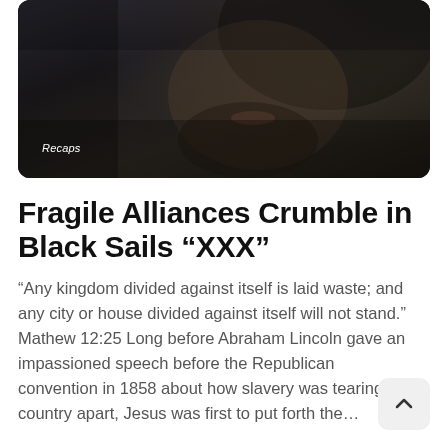[Figure (photo): Dark dramatic still from Black Sails TV show showing a bearded man with long dark hair, face partially visible, dark atmospheric lighting. 'Recaps' label overlaid in italic white text.]
Fragile Alliances Crumble in Black Sails “XXX”
“Any kingdom divided against itself is laid waste; and any city or house divided against itself will not stand.” Mathew 12:25 Long before Abraham Lincoln gave an impassioned speech before the Republican convention in 1858 about how slavery was tearing this country apart, Jesus was first to put forth the…